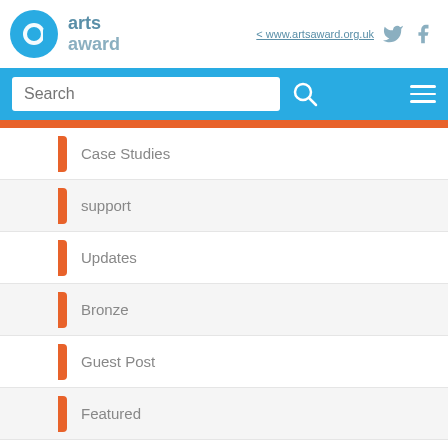[Figure (logo): Arts Award logo with circular 'a' icon and 'arts award' text]
< www.artsaward.org.uk
Search
Case Studies
support
Updates
Bronze
Guest Post
Featured
Resources